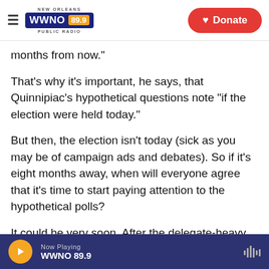NEW ORLEANS WWNO 89.9 PUBLIC RADIO | Donate
months from now."
That's why it's important, he says, that Quinnipiac's hypothetical questions note "if the election were held today."
But then, the election isn't today (sick as you may be of campaign ads and debates). So if it's eight months away, when will everyone agree that it's time to start paying attention to the hypothetical polls?
It could be very soon. After the delegate-heavy March 15 contests, Mo... [text continues]
Now Playing WWNO 89.9